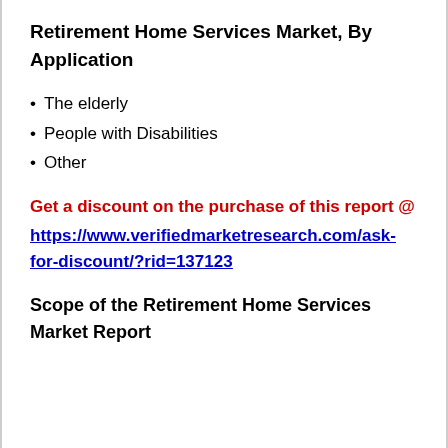Retirement Home Services Market, By Application
The elderly
People with Disabilities
Other
Get a discount on the purchase of this report @ https://www.verifiedmarketresearch.com/ask-for-discount/?rid=137123
Scope of the Retirement Home Services Market Report